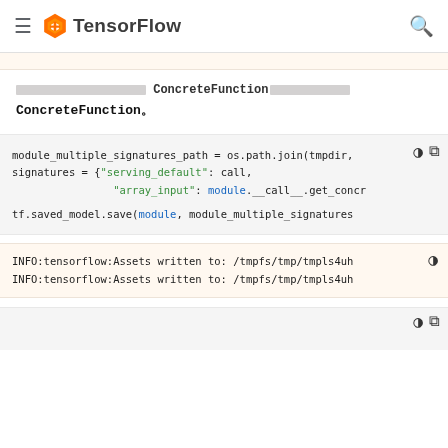TensorFlow
（redacted） ConcreteFunction（redacted） ConcreteFunction。
[Figure (screenshot): Code block showing Python code: module_multiple_signatures_path = os.path.join(tmpdir, signatures = {"serving_default": call, "array_input": module.__call__.get_concr  tf.saved_model.save(module, module_multiple_signatures]
[Figure (screenshot): Output block: INFO:tensorflow:Assets written to: /tmpfs/tmp/tmpls4uh  INFO:tensorflow:Assets written to: /tmpfs/tmp/tmpls4uh]
[Figure (screenshot): Bottom partial code block with copy/brightness icons]